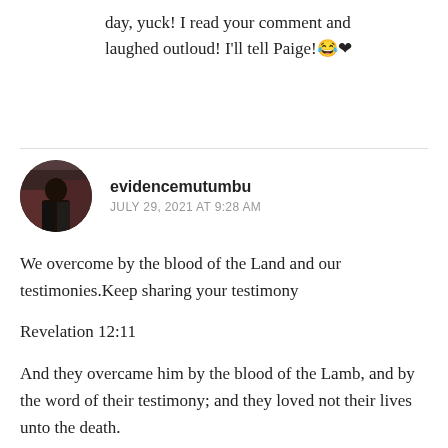day, yuck! I read your comment and laughed outloud! I'll tell Paige!😂❤
evidencemutumbu
JULY 29, 2021 AT 9:28 AM
We overcome by the blood of the Land and our testimonies.Keep sharing your testimony
Revelation 12:11
And they overcame him by the blood of the Lamb, and by the word of their testimony; and they loved not their lives unto the death.